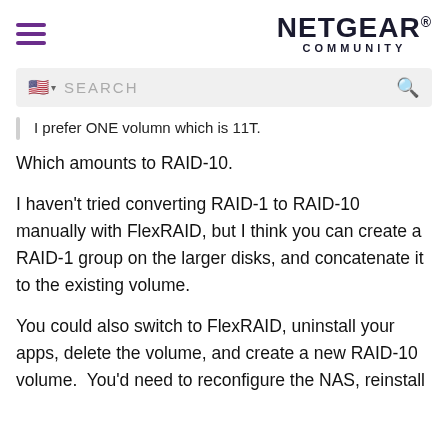NETGEAR COMMUNITY
I prefer ONE volumn which is 11T.
Which amounts to RAID-10.
I haven't tried converting RAID-1 to RAID-10 manually with FlexRAID, but I think you can create a RAID-1 group on the larger disks, and concatenate it to the existing volume.
You could also switch to FlexRAID, uninstall your apps, delete the volume, and create a new RAID-10 volume.  You'd need to reconfigure the NAS, reinstall